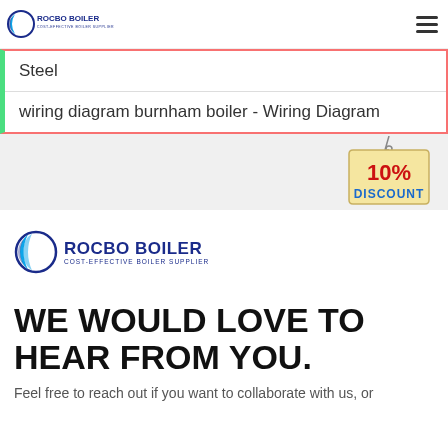ROCBO BOILER - COST-EFFECTIVE BOILER SUPPLIER
Steel
wiring diagram burnham boiler - Wiring Diagram
[Figure (illustration): 10% DISCOUNT hanging tag badge]
[Figure (logo): ROCBO BOILER - COST-EFFECTIVE BOILER SUPPLIER logo, large version]
WE WOULD LOVE TO HEAR FROM YOU.
Feel free to reach out if you want to collaborate with us, or